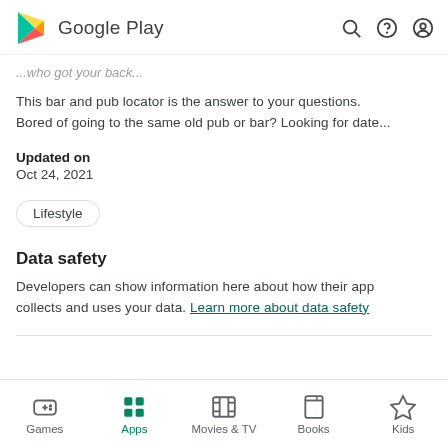Google Play
...who got your back...
This bar and pub locator is the answer to your questions. Bored of going to the same old pub or bar? Looking for date...
Updated on
Oct 24, 2021
Lifestyle
Data safety
Developers can show information here about how their app collects and uses your data. Learn more about data safety
Games | Apps | Movies & TV | Books | Kids